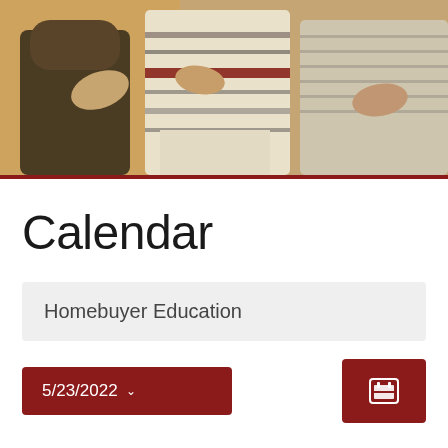[Figure (photo): Group of people standing together, torsos visible, wearing casual clothes including a striped shirt, with a warm sepia/golden toned overlay]
Calendar
Homebuyer Education
5/23/2022